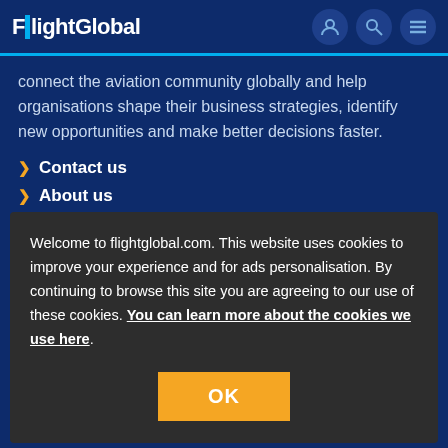FlightGlobal
connect the aviation community globally and help organisations shape their business strategies, identify new opportunities and make better decisions faster.
Contact us
About us
Welcome to flightglobal.com. This website uses cookies to improve your experience and for ads personalisation. By continuing to browse this site you are agreeing to our use of these cookies. You can learn more about the cookies we use here.